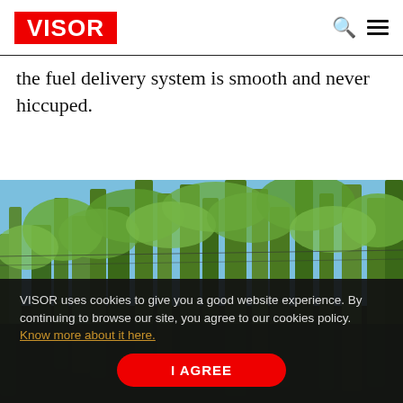VISOR
the fuel delivery system is smooth and never hiccuped.
[Figure (photo): Outdoor scene showing trees with green foliage and tall pine/palm trees against a blue sky, viewed from below.]
VISOR uses cookies to give you a good website experience. By continuing to browse our site, you agree to our cookies policy. Know more about it here.
I AGREE